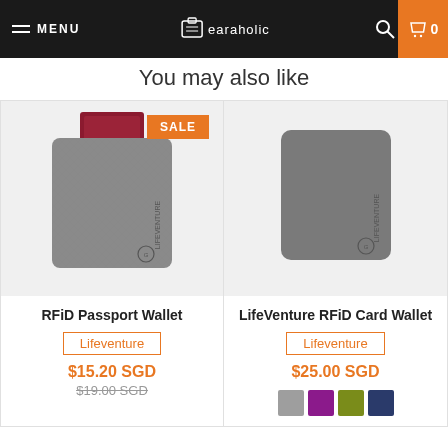MENU | Gearaholic | Search | Cart 0
You may also like
[Figure (photo): RFiD Passport Wallet by Lifeventure, grey fabric wallet with passport, SALE badge]
RFiD Passport Wallet
Lifeventure
$15.20 SGD
$19.00 SGD
[Figure (photo): LifeVenture RFiD Card Wallet by Lifeventure, grey compact fabric card wallet]
LifeVenture RFiD Card Wallet
Lifeventure
$25.00 SGD